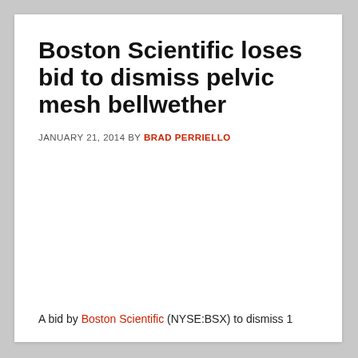Boston Scientific loses bid to dismiss pelvic mesh bellwether
JANUARY 21, 2014 BY BRAD PERRIELLO
A bid by Boston Scientific (NYSE:BSX) to dismiss 1